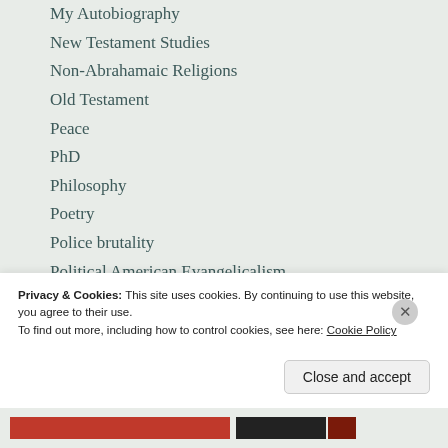My Autobiography
New Testament Studies
Non-Abrahamaic Religions
Old Testament
Peace
PhD
Philosophy
Poetry
Police brutality
Political American Evangelicalism
Prayer
Publishing
Reading List , Haitian Revolution
Refugees
Privacy & Cookies: This site uses cookies. By continuing to use this website, you agree to their use.
To find out more, including how to control cookies, see here: Cookie Policy
Close and accept